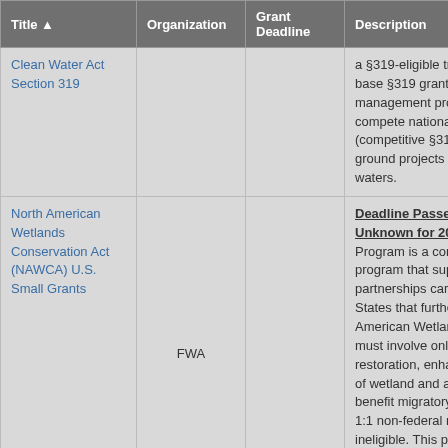| Title ▲ | Organization | Grant Deadline | Description |
| --- | --- | --- | --- |
| Clean Water Act Section 319 |  |  | a §319-eligible tribe may a... a base §319 grant that sup... management program, an... compete nationally for add... (competitive §319 grants) t... ground projects to restore ... waters. |
| North American Wetlands Conservation Act (NAWCA) U.S. Small Grants | FWA |  | Deadline Passed 10/18/20... Unknown for 2019. The U... Program is a competitive, n... program that supports pub... partnerships carrying out p... States that further the goa... American Wetlands Conse... must involve only long-tern... restoration, enhancement ... of wetland and associated ... benefit migratory birds. Th... 1:1 non-federal match and... ineligible. This program su... FWS mission of protecting... |